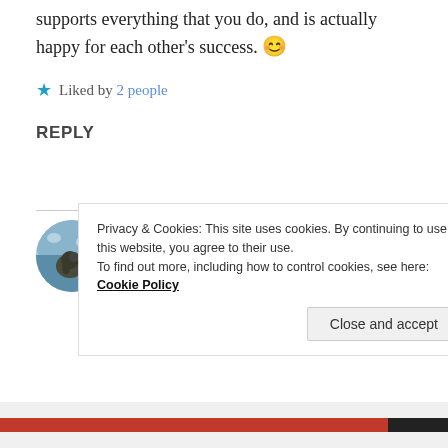It's very nice to have someone by your side that supports everything that you do, and is actually happy for each other's success. 😊
Liked by 2 people
REPLY
HEMALATHA RAMESH
September 13, 2020 at 10:13 pm
Privacy & Cookies: This site uses cookies. By continuing to use this website, you agree to their use.
To find out more, including how to control cookies, see here: Cookie Policy